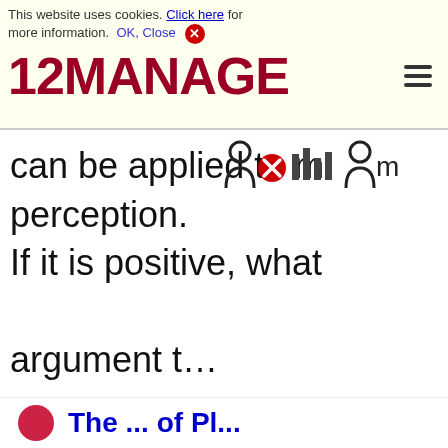This website uses cookies. Click here for more information. OK, Close
[Figure (logo): 12MANAGE logo in dark red/maroon bold text with hamburger menu icon]
can be applied to m perception. If it is positive, what argument t…
♡ 3
The ... of Pl...